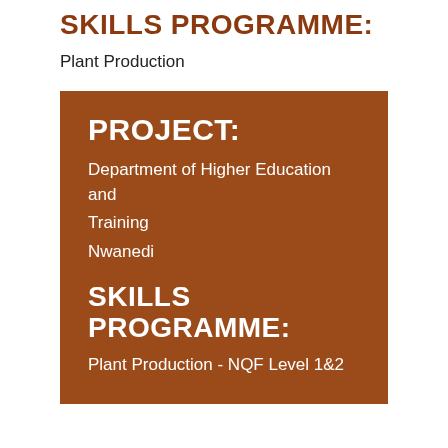SKILLS PROGRAMME:
Plant Production
PROJECT:
Department of Higher Education and Training
Nwanedi
SKILLS PROGRAMME:
Plant Production - NQF Level 1&2